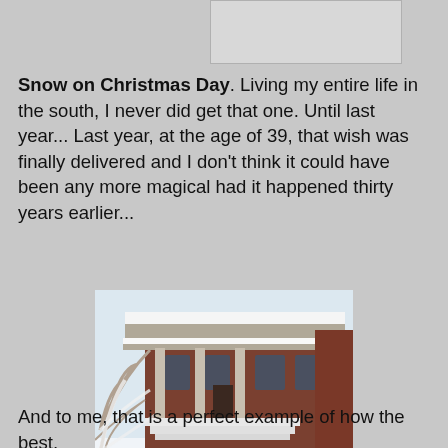[Figure (other): Partial image at top of page, cropped, light gray background]
Snow on Christmas Day. Living my entire life in the south, I never did get that one. Until last year... Last year, at the age of 39, that wish was finally delivered and I don't think it could have been any more magical had it happened thirty years earlier...
[Figure (photo): A snowy house with a brick exterior, covered porch with columns, snow-laden tree branches in foreground, labeled 'Christmas 2010']
Christmas 2010
And to me, that is a perfect example of how the best,